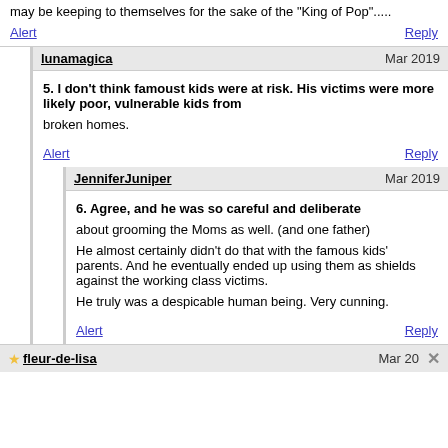may be keeping to themselves for the sake of the "King of Pop".....
Alert    Reply
lunamagica    Mar 2019
5. I don't think famoust kids were at risk. His victims were more likely poor, vulnerable kids from

broken homes.
Alert    Reply
JenniferJuniper    Mar 2019
6. Agree, and he was so careful and deliberate

about grooming the Moms as well. (and one father)

He almost certainly didn't do that with the famous kids' parents. And he eventually ended up using them as shields against the working class victims.

He truly was a despicable human being. Very cunning.
Alert    Reply
fleur-de-lisa    Mar 20